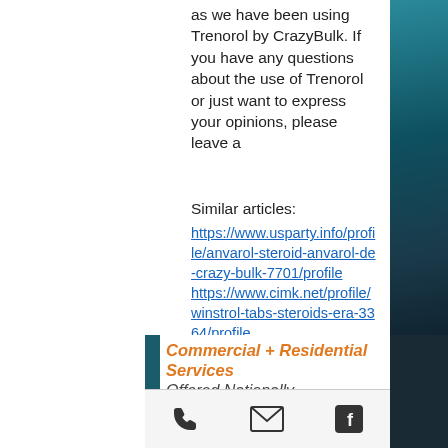as we have been using Trenorol by CrazyBulk. If you have any questions about the use of Trenorol or just want to express your opinions, please leave a
Similar articles:
https://www.usparty.info/profile/anvarol-steroid-anvarol-de-crazy-bulk-7701/profile
https://www.cimk.net/profile/winstrol-tabs-steroids-era-3364/profile
https://www.ffastronauts.com/profile/human-growth-hormone-supplements-singapo-9344/profile
https://www.socialbynature.com/profile/hgh-up-supplement-for-cutting-diet-8210/profile
Commercial + Residential Services
Offered Nationally, Internationally +